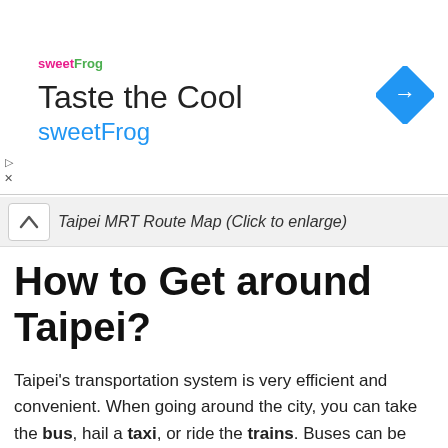[Figure (other): Advertisement banner for sweetFrog with logo, tagline 'Taste the Cool', brand name 'sweetFrog', and a blue diamond navigation arrow icon]
Taipei MRT Route Map (Click to enlarge)
How to Get around Taipei?
Taipei's transportation system is very efficient and convenient. When going around the city, you can take the bus, hail a taxi, or ride the trains. Buses can be quite confusing if you don't know the routes. If you're on a tight budget, taxis are quite expensive if you're traveling alone. But if you're traveling with a group, you can take the taxi and share the fare with your friends to save on travel expenses.